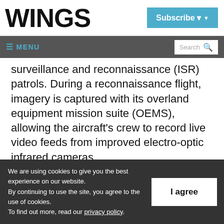WINGS
Subscribe
≡ MENU  Search
surveillance and reconnaissance (ISR) patrols. During a reconnaissance flight, imagery is captured with its overland equipment mission suite (OEMS), allowing the aircraft's crew to record live video feeds from improved electro-optic infrared cameras.
We are using cookies to give you the best experience on our website. By continuing to use the site, you agree to the use of cookies. To find out more, read our privacy policy.